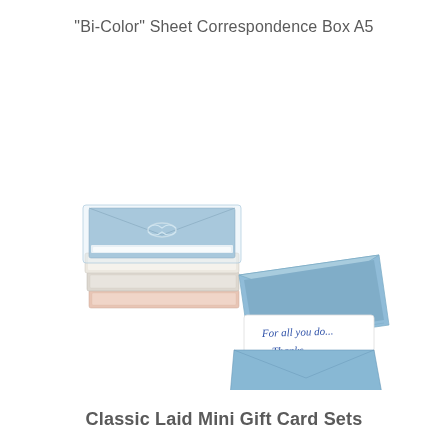"Bi-Color" Sheet Correspondence Box A5
[Figure (photo): A stack of correspondence box sets with pastel-colored envelopes and cards. At the top is a light blue envelope. Additional sets in various soft colors are stacked below. To the right, a light blue open envelope is shown alongside a small card handwritten with 'For all you do... Thanks, Nancy'.]
Classic Laid Mini Gift Card Sets